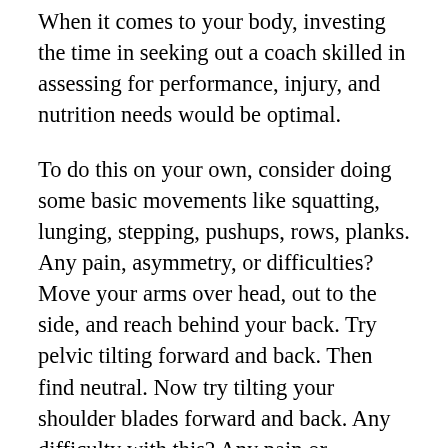When it comes to your body, investing the time in seeking out a coach skilled in assessing for performance, injury, and nutrition needs would be optimal.
To do this on your own, consider doing some basic movements like squatting, lunging, stepping, pushups, rows, planks. Any pain, asymmetry, or difficulties? Move your arms over head, out to the side, and reach behind your back. Try pelvic tilting forward and back. Then find neutral. Now try tilting your shoulder blades forward and back. Any difficulty with this? Any pain or limitations? Stand on one leg and see how long you can balance. Try it again with one your eyes closed. Could you do this at least 30 seconds?